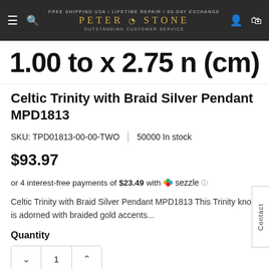PETER STONE Est. 1987 — FREE SHIPPING USA / LIFETIME REPAIR / 60-DAY EXCHANGE / OUTSTANDING CUSTOMER SERVICE
[Figure (photo): Cropped product image showing size measurements 1.00 to x 2.75 n (cm) on white background]
Celtic Trinity with Braid Silver Pendant MPD1813
SKU: TPD01813-00-00-TWO | 50000 In stock
$93.97
or 4 interest-free payments of $23.49 with Sezzle
Celtic Trinity with Braid Silver Pendant MPD1813 This Trinity knot is adorned with braided gold accents...
Quantity
1